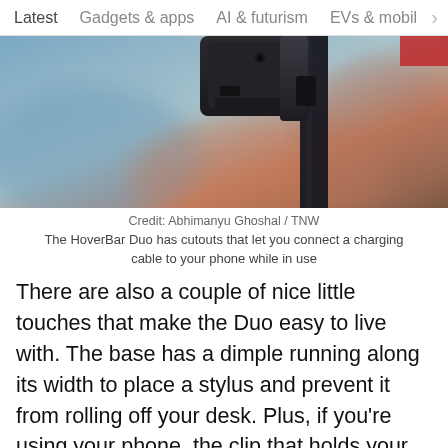Latest   Gadgets & apps   AI & futurism   EVs & mobil  >
[Figure (photo): Close-up photo of a black phone mount device (HoverBar Duo) showing the clamp mechanism and cable cutout, with blurred background.]
Credit: Abhimanyu Ghoshal / TNW
The HoverBar Duo has cutouts that let you connect a charging cable to your phone while in use
There are also a couple of nice little touches that make the Duo easy to live with. The base has a dimple running along its width to place a stylus and prevent it from rolling off your desk. Plus, if you're using your phone, the clip that holds your device has a cutout so you can connect your